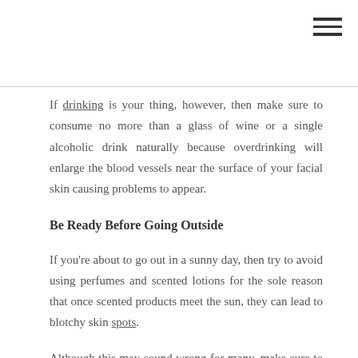If drinking is your thing, however, then make sure to consume no more than a glass of wine or a single alcoholic drink naturally because overdrinking will enlarge the blood vessels near the surface of your facial skin causing problems to appear.
Be Ready Before Going Outside
If you're about to go out in a sunny day, then try to avoid using perfumes and scented lotions for the sole reason that once scented products meet the sun, they can lead to blotchy skin spots.
Although this may sound wrong for many, make sure to sweat by cycling, jogging, working out in general. Because sweat is nature's answer to all the different